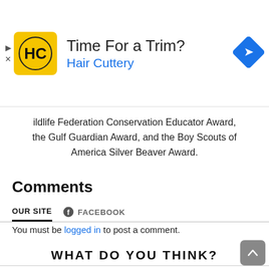[Figure (screenshot): Advertisement banner for Hair Cuttery with HC logo, headline 'Time For a Trim?' and blue brand name 'Hair Cuttery', with a blue diamond navigation icon on the right.]
ildlife Federation Conservation Educator Award, the Gulf Guardian Award, and the Boy Scouts of America Silver Beaver Award.
Comments
OUR SITE   FACEBOOK
You must be logged in to post a comment.
WHAT DO YOU THINK?